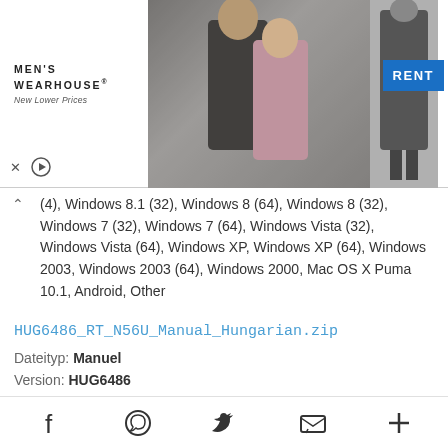[Figure (screenshot): Men's Wearhouse advertisement banner showing a couple in formalwear and a suit on a mannequin, with a blue RENT button]
(4), Windows 8.1 (32), Windows 8 (64), Windows 8 (32), Windows 7 (32), Windows 7 (64), Windows Vista (32), Windows Vista (64), Windows XP, Windows XP (64), Windows 2003, Windows 2003 (64), Windows 2000, Mac OS X Puma 10.1, Android, Other
HUG6486_RT_N56U_Manual_Hungarian.zip
Dateityp: Manuel
Version: HUG6486
Grösse: 6.71 Mb
Betriebssystem: Windows 10 (64), Windows 10 (32), Windows 8.1 (32), Windows 8.1 (64), Windows 8 (64), Windows 8 (32), Windows 7 (32), Windows 7 (64), Windows Vista (32), Windows Vista (64), Windows XP, Windows XP (64), Windows 2003 (64), Windows 2003, Windows 2000, Mac OS X Puma 10.1, Android, Other
Facebook | WhatsApp | Twitter | Email | More